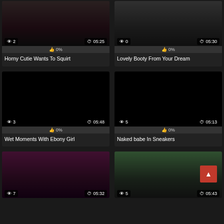[Figure (screenshot): Video thumbnail grid showing 6 adult video thumbnails in a 2-column layout. Row 1: 'Horny Cutie Wants To Squirt' (views:2, duration:05:25, likes:0%) and 'Lovely Booty From Your Dream' (views:0, duration:05:30, likes:0%). Row 2: 'Wet Moments With Ebony Girl' (views:3, duration:05:48, likes:0%) and 'Naked babe In Sneakers' (views:5, duration:05:13, likes:0%). Row 3: partial thumbnails with views:7, duration:05:32 and views:5, duration:05:43.]